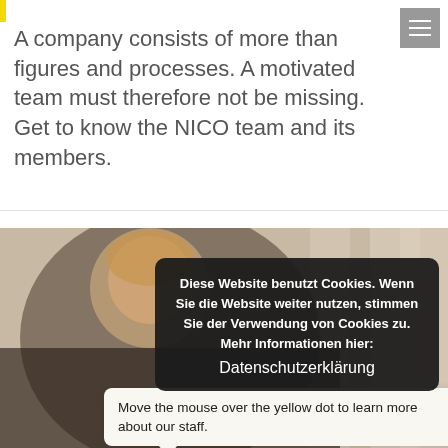A company consists of more than figures and processes. A motivated team must therefore not be missing. Get to know the NICO team and its members.
[Figure (photo): Photo of a man in a dark jacket, smiling, with columns in the background. Trusted Shops badge with rating 4,65 and 5 stars visible in the lower left.]
Diese Website benutzt Cookies. Wenn Sie die Website weiter nutzen, stimmen Sie der Verwendung von Cookies zu. Mehr Informationen hier: Datenschutzerklärung
Move the mouse over the yellow dot to learn more about our staff.